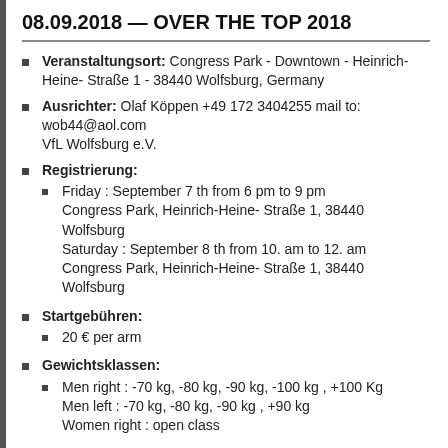08.09.2018 — OVER THE TOP 2018
Veranstaltungsort: Congress Park - Downtown - Heinrich-Heine- Straße 1 - 38440 Wolfsburg, Germany
Ausrichter: Olaf Köppen +49 172 3404255 mail to: wob44@aol.com VfL Wolfsburg e.V.
Registrierung:
Friday : September 7 th from 6 pm to 9 pm Congress Park, Heinrich-Heine- Straße 1, 38440 Wolfsburg
Saturday : September 8 th from 10. am to 12. am Congress Park, Heinrich-Heine- Straße 1, 38440 Wolfsburg
Startgebühren:
20 € per arm
Gewichtsklassen:
Men right : -70 kg, -80 kg, -90 kg, -100 kg , +100 Kg Men left : -70 kg, -80 kg, -90 kg , +90 kg Women right : open class